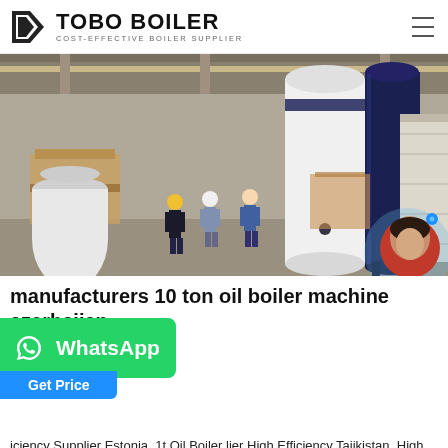TOBO BOILER — COST-EFFECTIVE BOILER SUPPLIER
[Figure (photo): Factory floor showing workers in hard hats next to large white and dark blue cylindrical boilers being prepared for shipping, inside an industrial warehouse.]
manufacturers 10 ton oil boiler machine azerbaijan
iciency Supplier Estonia. 1t Oil Boiler lier High Efficiency Tajikistan. High Efficiency Gas Fired Steam Boilers Commercial 1 … 6T 1 Ton Boiler Agent Fuel